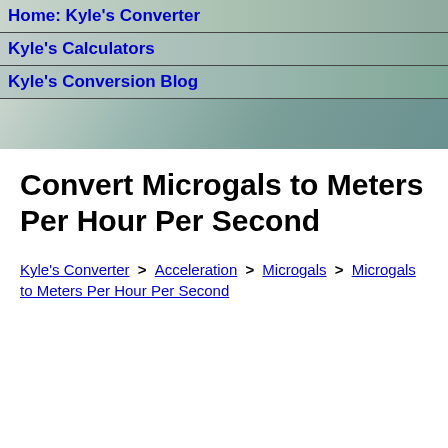Home: Kyle's Converter
Kyle's Calculators
Kyle's Conversion Blog
Convert Microgals to Meters Per Hour Per Second
Kyle's Converter > Acceleration > Microgals > Microgals to Meters Per Hour Per Second